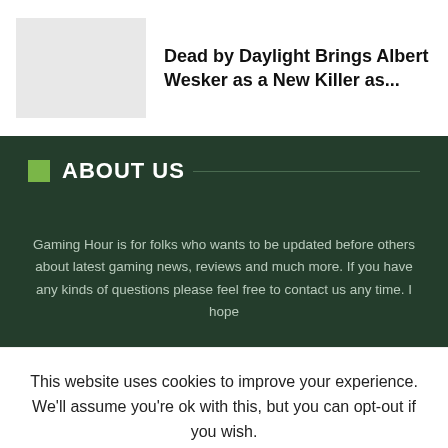[Figure (photo): Gray placeholder thumbnail image for article]
Dead by Daylight Brings Albert Wesker as a New Killer as...
ABOUT US
Gaming Hour is for folks who wants to be updated before others about latest gaming news, reviews and much more. If you have any kinds of questions please feel free to contact us any time. I hope
This website uses cookies to improve your experience. We'll assume you're ok with this, but you can opt-out if you wish.
Cookie settings
ACCEPT